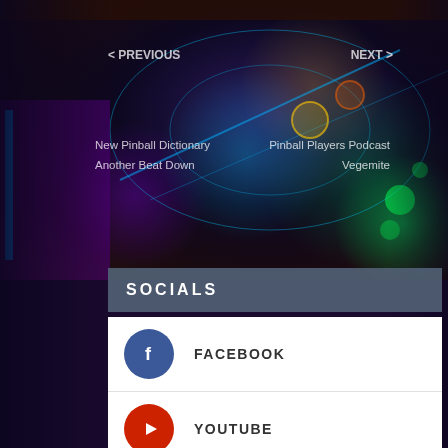[Figure (screenshot): Pinball machine aerial background image with colorful neon lights]
< PREVIOUS   NEXT >
New Pinball Dictionary
Another Beat Down
Pinball Players Podcast
Vegemite
SOCIALS
FACEBOOK
YOUTUBE
TWITTER 2,263 followers
INSTAGRAM